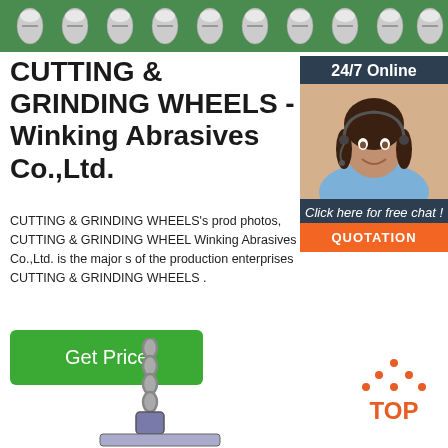[Figure (photo): Green background with metallic screws/bolts arranged in a row at the top of the page]
CUTTING & GRINDING WHEELS - Winking Abrasives Co.,Ltd.
CUTTING & GRINDING WHEELS's product photos, CUTTING & GRINDING WHEELS Winking Abrasives Co.,Ltd. is the major supplier of the production enterprises CUTTING & GRINDING WHEELS .
[Figure (photo): Sidebar widget with dark navy background showing '24/7 Online' label, a photo of a female customer service agent with headset smiling, 'Click here for free chat!' text in italic white, and an orange QUOTATION button]
[Figure (illustration): Get Price green button]
[Figure (photo): Bottom portion showing a chain hoist or lifting equipment partially visible]
[Figure (logo): Orange TOP badge/logo with dots arranged in a triangle above the word TOP in the bottom right corner]